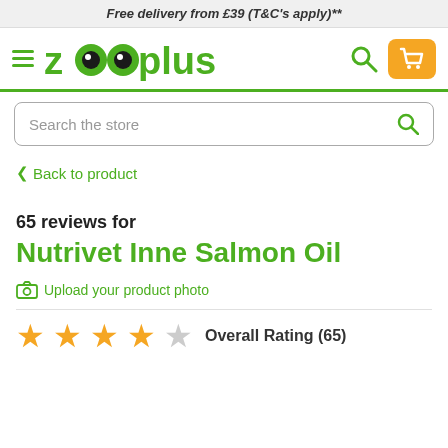Free delivery from £39 (T&C's apply)**
[Figure (logo): Zooplus logo with two eyes inside double-o letters, green text, hamburger menu icon, search icon, and orange cart button]
Search the store
< Back to product
65 reviews for
Nutrivet Inne Salmon Oil
Upload your product photo
Overall Rating (65)